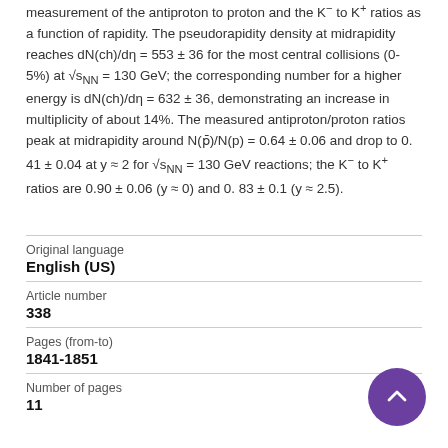measurement of the antiproton to proton and the K− to K+ ratios as a function of rapidity. The pseudorapidity density at midrapidity reaches dN(ch)/dη = 553 ± 36 for the most central collisions (0-5%) at √sNN = 130 GeV; the corresponding number for a higher energy is dN(ch)/dη = 632 ± 36, demonstrating an increase in multiplicity of about 14%. The measured antiproton/proton ratios peak at midrapidity around N(p̄)/N(p) = 0.64 ± 0.06 and drop to 0. 41 ± 0.04 at y ≈ 2 for √sNN = 130 GeV reactions; the K− to K+ ratios are 0.90 ± 0.06 (y ≈ 0) and 0. 83 ± 0.1 (y ≈ 2.5).
| Field | Value |
| --- | --- |
| Original language | English (US) |
| Article number | 338 |
| Pages (from-to) | 1841-1851 |
| Number of pages | 11 |